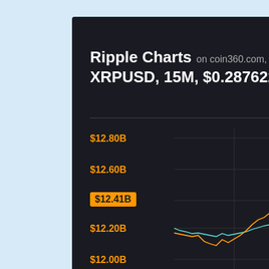Ripple Charts on coin360.com, October 15
XRPUSD, 15M, $0.287622 (-1.3
[Figure (continuous-plot): XRP/USD price chart showing two lines (orange and green/teal) over time. Y-axis shows market cap values from $11.80B to $12.80B. A highlighted label shows $12.41B. The lines trend upward with volatility in the right portion of the chart.]